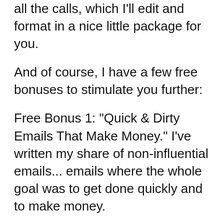all the calls, which I'll edit and format in a nice little package for you.
And of course, I have a few free bonuses to stimulate you further:
Free Bonus 1: "Quick & Dirty Emails That Make Money." I've written my share of non-influential emails... emails where the whole goal was to get done quickly and to make money.
In this presentation, I'll show you the step-by-step system I used to write such emails, with examples from two email lists that